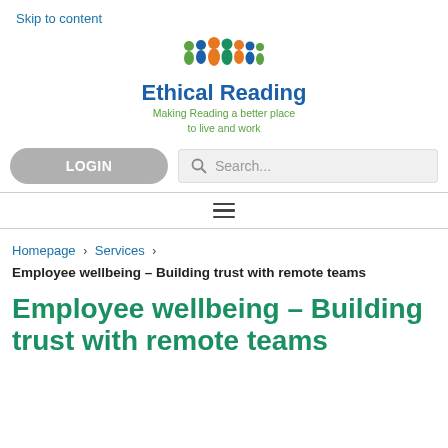Skip to content
[Figure (logo): Ethical Reading logo: colorful people icons above the text 'Ethical Reading' in bold blue, with tagline 'Making Reading a better place to live and work' in green]
LOGIN
Search...
Homepage > Services >
Employee wellbeing – Building trust with remote teams
Employee wellbeing – Building trust with remote teams